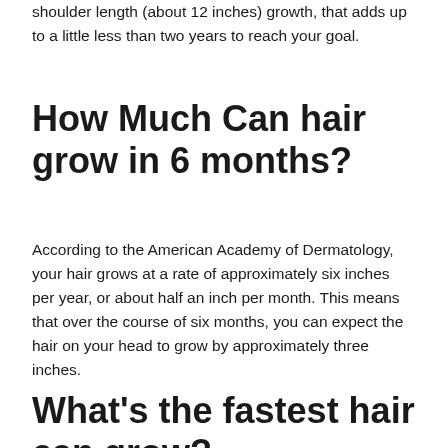shoulder length (about 12 inches) growth, that adds up to a little less than two years to reach your goal.
How Much Can hair grow in 6 months?
According to the American Academy of Dermatology, your hair grows at a rate of approximately six inches per year, or about half an inch per month. This means that over the course of six months, you can expect the hair on your head to grow by approximately three inches.
What's the fastest hair can grow?